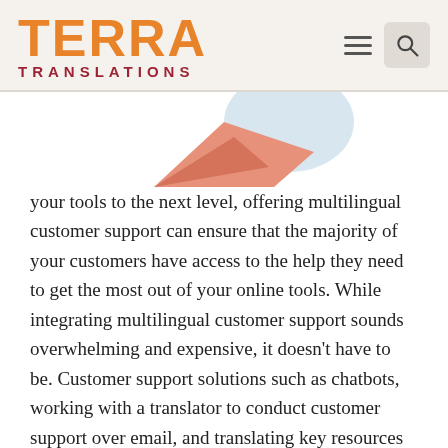TERRA TRANSLATIONS
[Figure (illustration): Partial illustration showing abstract geometric shapes in salmon/peach and light blue colors, appearing to be the bottom portion of a decorative graphic]
your tools to the next level, offering multilingual customer support can ensure that the majority of your customers have access to the help they need to get the most out of your online tools. While integrating multilingual customer support sounds overwhelming and expensive, it doesn't have to be. Customer support solutions such as chatbots, working with a translator to conduct customer support over email, and translating key resources (such as help documentation, FAQ web pages, and knowledge bases), are